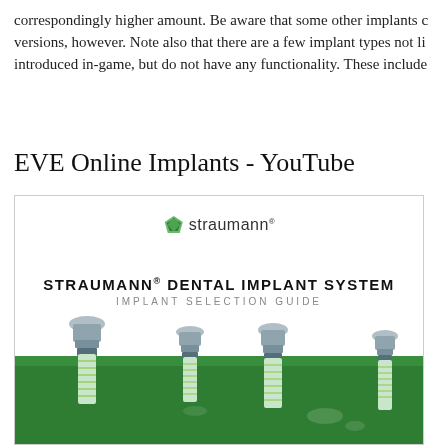correspondingly higher amount. Be aware that some other implants c versions, however. Note also that there are a few implant types not li introduced in-game, but do not have any functionality. These include
EVE Online Implants - YouTube
[Figure (photo): Straumann Dental Implant System - Implant Selection Guide cover image showing the Straumann logo at top, the title 'STRAUMANN® DENTAL IMPLANT SYSTEM IMPLANT SELECTION GUIDE', and four dental implants partially embedded in a green surface.]